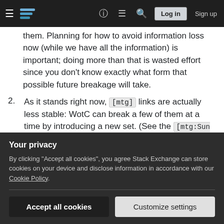Stack Exchange navigation bar with hamburger menu, logo, help, chat, search, Log in, Sign up
them. Planning for how to avoid information loss now (while we have all the information) is important; doing more than that is wasted effort since you don't know exactly what form that possible future breakage will take.
2. As it stands right now, [mtg] links are actually less stable: WotC can break a few of them at a time by introducing a new set. (See the [mtg:Sun Titan] problem, above.) So you're actually increasing the
Your privacy
By clicking "Accept all cookies", you agree Stack Exchange can store cookies on your device and disclose information in accordance with our Cookie Policy.
Accept all cookies
Customize settings
effort when writing answers.